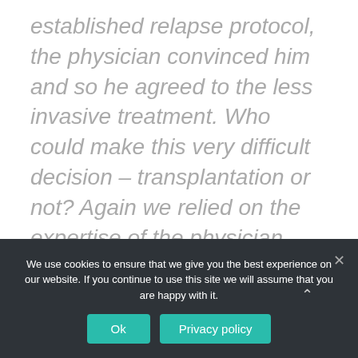established relapse protocol, the physician convinced him and so he agreed to the less invasive treatment. Who could make this very difficult decision – transplantation or not? Again we relied on the expertise of the physician, who had to take the responsibility.
Our decision is made much earlier: at the time when we trust him.
We can give 'Informed consent' when we are well informed...
We use cookies to ensure that we give you the best experience on our website. If you continue to use this site we will assume that you are happy with it.